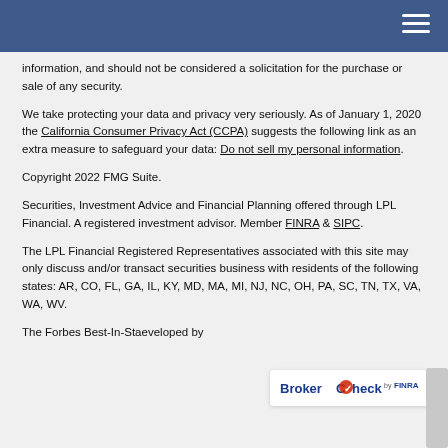information, and should not be considered a solicitation for the purchase or sale of any security.
We take protecting your data and privacy very seriously. As of January 1, 2020 the California Consumer Privacy Act (CCPA) suggests the following link as an extra measure to safeguard your data: Do not sell my personal information.
Copyright 2022 FMG Suite.
Securities, Investment Advice and Financial Planning offered through LPL Financial. A registered investment advisor. Member FINRA & SIPC.
The LPL Financial Registered Representatives associated with this site may only discuss and/or transact securities business with residents of the following states: AR, CO, FL, GA, IL, KY, MD, MA, MI, NJ, NC, OH, PA, SC, TN, TX, VA, WA, WV.
The Forbes Best-In-Sta... developed by
[Figure (logo): BrokerCheck by FINRA logo overlay]